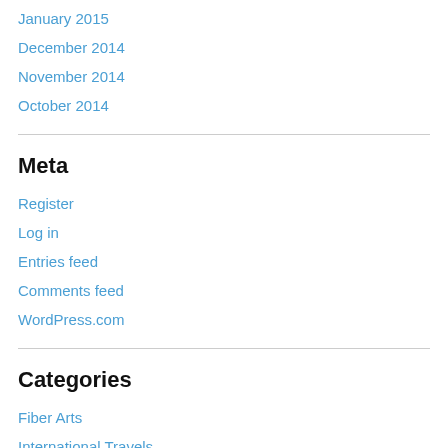January 2015
December 2014
November 2014
October 2014
Meta
Register
Log in
Entries feed
Comments feed
WordPress.com
Categories
Fiber Arts
International Travels
US Travels